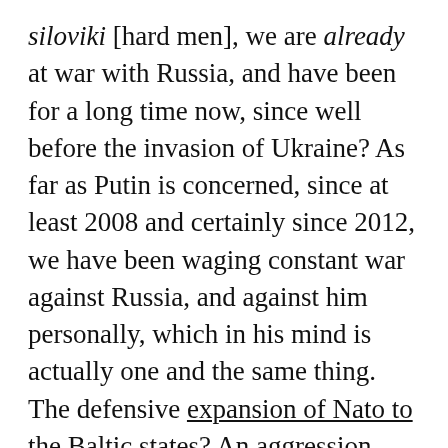siloviki [hard men], we are already at war with Russia, and have been for a long time now, since well before the invasion of Ukraine? As far as Putin is concerned, since at least 2008 and certainly since 2012, we have been waging constant war against Russia, and against him personally, which in his mind is actually one and the same thing. The defensive expansion of Nato to the Baltic states? An aggression against Russia. The 2012 demonstrations against Putin's return to the presidency? An American plot to overthrow him. The Ukrainian Maidan uprising in 2014? A coup